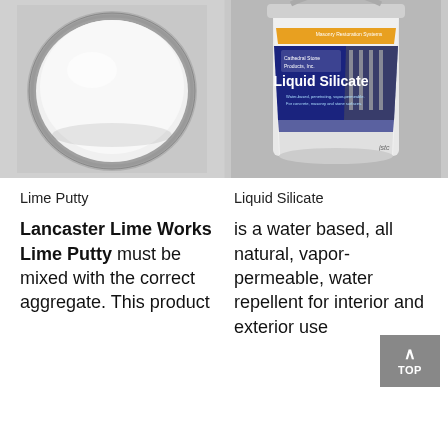[Figure (photo): Top-down view of a white lime putty in a round metal tin container, viewed from above on a gray background]
[Figure (photo): Bucket of Liquid Silicate product by Cathedral Stone Products, Inc., a white plastic pail with blue and yellow label reading 'Liquid Silicate', vapor-permeable, water-based masonry restoration coating]
Lime Putty
Liquid Silicate
Lancaster Lime Works Lime Putty must be mixed with the correct aggregate. This product
is a water based, all natural, vapor-permeable, water repellent for interior and exterior use